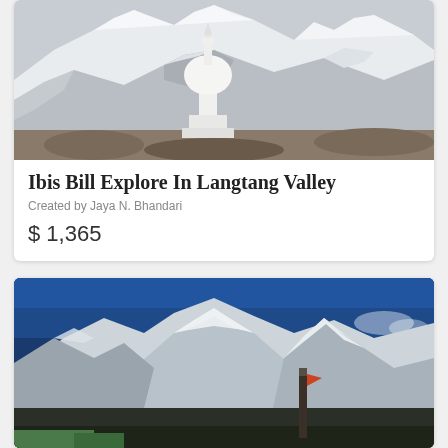[Figure (photo): Snow-capped mountain peaks with a white Buddhist stupa/chorten in the foreground, Langtang Valley region, Nepal]
Ibis Bill Explore In Langtang Valley
Created by Jaya N. Bhandari
$ 1,365
[Figure (photo): Snow-capped Himalayan mountain peaks including Everest under a deep blue sky, with a sign or post with a small flag in the foreground]